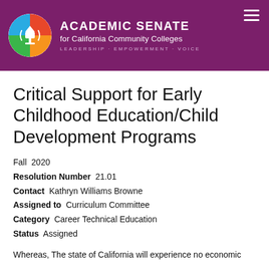Academic Senate for California Community Colleges — LEADERSHIP·EMPOWERMENT·VOICE
Critical Support for Early Childhood Education/Child Development Programs
Fall  2020
Resolution Number  21.01
Contact  Kathryn Williams Browne
Assigned to  Curriculum Committee
Category  Career Technical Education
Status  Assigned
Whereas, The state of California will experience no economic